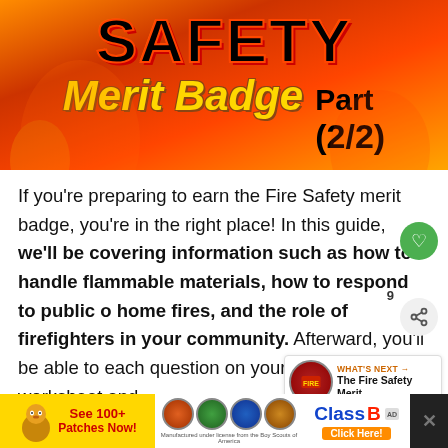[Figure (illustration): Safety Merit Badge Part 2/2 banner image with fire background, bold text SAFETY in black with orange outline, Merit Badge in gold italic, Part (2/2) in black, decorative flames and badge imagery]
If you're preparing to earn the Fire Safety merit badge, you're in the right place! In this guide, we'll be covering information such as how to handle flammable materials, how to respond to public o home fires, and the role of firefighters in your community. Afterward, you'll be able to each question on your merit badge worksheet and earn the Fire Safety merit badge!
[Figure (infographic): Advertisement banner: See 100+ Patches Now! with scout patches and ClassB Click Here! advertisement]